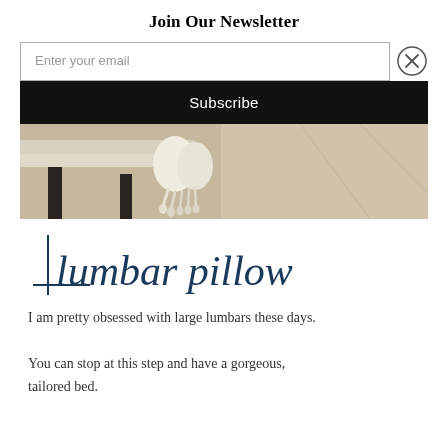Join Our Newsletter
Enter your email
Subscribe
[Figure (photo): Bottom corner of a bed with tasseled pillow on a textured carpet floor]
lumbar pillow
I am pretty obsessed with large lumbars these days. You can stop at this step and have a gorgeous, tailored bed.